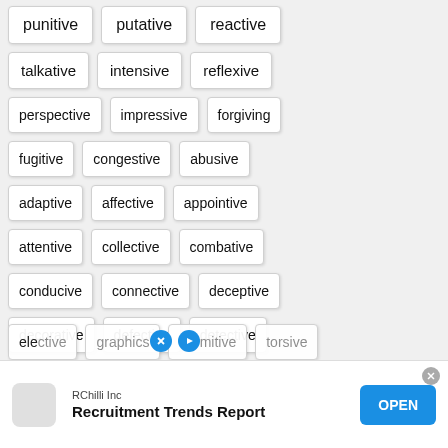punitive
putative
reactive
talkative
intensive
reflexive
perspective
impressive
forgiving
fugitive
congestive
abusive
adaptive
affective
appointive
attentive
collective
combative
conducive
connective
deceptive
decorative
defective
detective
dismissive
effective
effusive
elective
graphite
dormitive
torsive